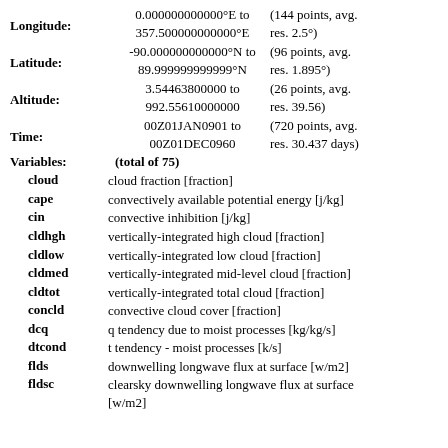Longitude: 0.000000000000°E to 357.500000000000°E (144 points, avg. res. 2.5°)
Latitude: -90.000000000000°N to 89.999999999999°N (96 points, avg. res. 1.895°)
Altitude: 3.54463800000 to 992.55610000000 (26 points, avg. res. 39.56)
Time: 00Z01JAN0901 to 00Z01DEC0960 (720 points, avg. res. 30.437 days)
Variables: (total of 75)
cloud — cloud fraction [fraction]
cape — convectively available potential energy [j/kg]
cin — convective inhibition [j/kg]
cldhgh — vertically-integrated high cloud [fraction]
cldlow — vertically-integrated low cloud [fraction]
cldmed — vertically-integrated mid-level cloud [fraction]
cldtot — vertically-integrated total cloud [fraction]
concld — convective cloud cover [fraction]
dcq — q tendency due to moist processes [kg/kg/s]
dtcond — t tendency - moist processes [k/s]
flds — downwelling longwave flux at surface [w/m2]
fldsc — clearsky downwelling longwave flux at surface [w/m2]